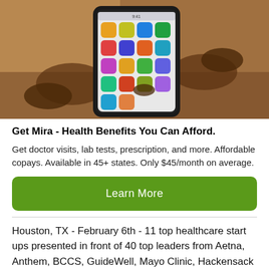[Figure (photo): Hands holding a smartphone displaying colorful app icons on the screen]
Get Mira - Health Benefits You Can Afford.
Get doctor visits, lab tests, prescription, and more. Affordable copays. Available in 45+ states. Only $45/month on average.
Learn More
Houston, TX - February 6th - 11 top healthcare start ups presented in front of 40 top leaders from Aetna, Anthem, BCCS, GuideWell, Mayo Clinic, Hackensack